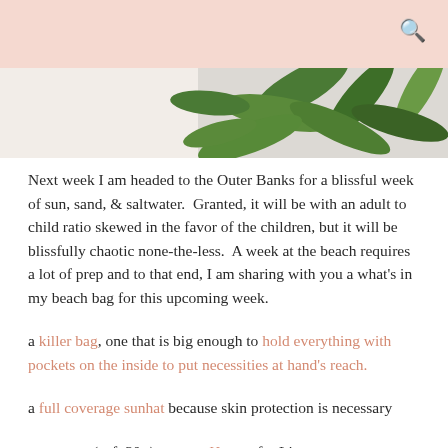[Figure (photo): Partial photo of tropical leaf print fabric or wallpaper with green palm leaves on white background]
Next week I am headed to the Outer Banks for a blissful week of sun, sand, & saltwater.  Granted, it will be with an adult to child ratio skewed in the favor of the children, but it will be blissfully chaotic none-the-less.  A week at the beach requires a lot of prep and to that end, I am sharing with you a what's in my beach bag for this upcoming week.
a killer bag, one that is big enough to hold everything with pockets on the inside to put necessities at hand's reach.
a full coverage sunhat because skin protection is necessary
sunscreen (spf: 30+); we use Honest for Liam